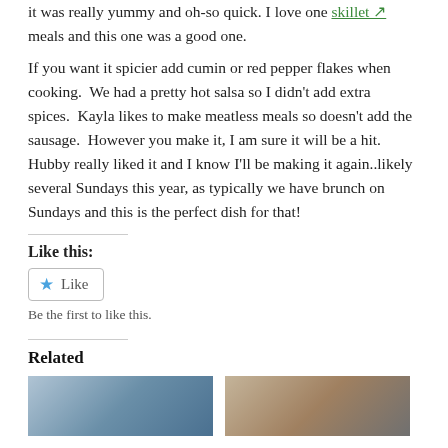it was really yummy and oh-so quick.  I love one skillet meals and this one was a good one.
If you want it spicier add cumin or red pepper flakes when cooking.  We had a pretty hot salsa so I didn't add extra spices.  Kayla likes to make meatless meals so doesn't add the sausage.  However you make it, I am sure it will be a hit.  Hubby really liked it and I know I'll be making it again..likely several Sundays this year, as typically we have brunch on Sundays and this is the perfect dish for that!
Like this:
Like
Be the first to like this.
Related
[Figure (photo): Two thumbnail images for related posts]